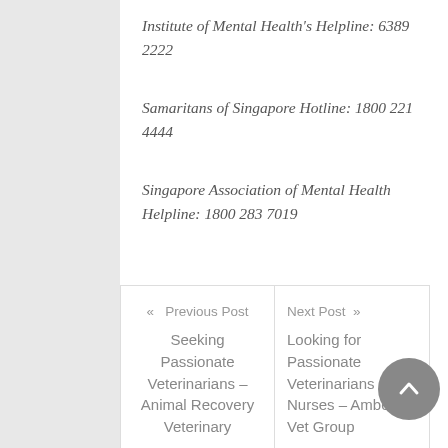Institute of Mental Health's Helpline: 6389 2222
Samaritans of Singapore Hotline: 1800 221 4444
Singapore Association of Mental Health Helpline: 1800 283 7019
« Previous Post
Seeking Passionate Veterinarians – Animal Recovery Veterinary
Next Post »
Looking for Passionate Veterinarians & Nurses – Amber Vet Group